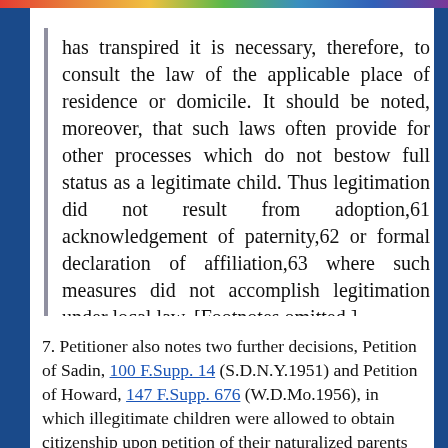has transpired it is necessary, therefore, to consult the law of the applicable place of residence or domicile. It should be noted, moreover, that such laws often provide for other processes which do not bestow full status as a legitimate child. Thus legitimation did not result from adoption,61 acknowledgement of paternity,62 or formal declaration of affiliation,63 where such measures did not accomplish legitimation under local law. [Footnotes omitted.]
7. Petitioner also notes two further decisions, Petition of Sadin, 100 F.Supp. 14 (S.D.N.Y.1951) and Petition of Howard, 147 F.Supp. 676 (W.D.Mo.1956), in which illegitimate children were allowed to obtain citizenship upon petition of their naturalized parents under section 315 of the 1940 Act and section 322 of the 1952 Act, respectively. The Sadin decision, however, ignores the definitional section 102(h) which also